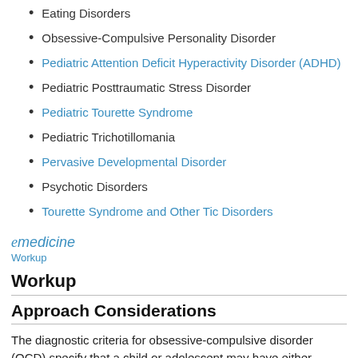Eating Disorders
Obsessive-Compulsive Personality Disorder
Pediatric Attention Deficit Hyperactivity Disorder (ADHD)
Pediatric Posttraumatic Stress Disorder
Pediatric Tourette Syndrome
Pediatric Trichotillomania
Pervasive Developmental Disorder
Psychotic Disorders
Tourette Syndrome and Other Tic Disorders
[Figure (logo): eMedicine logo with italic e and 'medicine' text in blue, followed by 'Workup' link below]
Workup
Approach Considerations
The diagnostic criteria for obsessive-compulsive disorder (OCD) specify that a child or adolescent may have either obsessions or compulsions, although nearly all children with this disorder have both. The symptoms must cause some distress, consume more than 1 hour per day, or must significantly